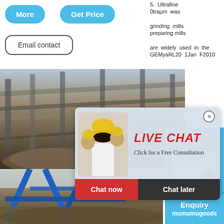[Figure (screenshot): Web page screenshot showing mining/grinding equipment site with buttons, live chat overlay, and sidebar]
More
Get Price
Email contact
5. Ultrafine 0traμm was grinding mills preparing mills are widely used in the GEMyaRL20 1Jan F2010
[Figure (photo): Industrial conveyor belt and mining equipment facility photo]
[Figure (photo): Outdoor mining site with blue structural supports photo]
LIVE CHAT
Click for a Free Consultation
Chat now
Chat later
hour online
[Figure (photo): Crusher/hammer mill machine product image]
Click me to chat>>
Enquiry
mumumugoods